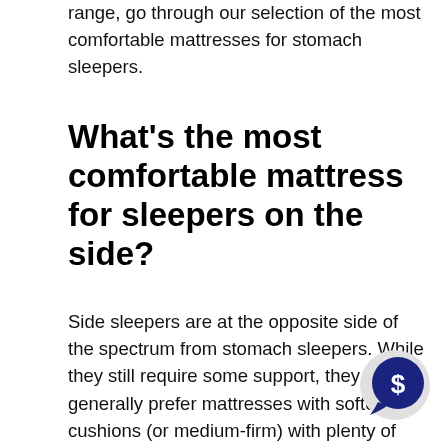range, go through our selection of the most comfortable mattresses for stomach sleepers.
What's the most comfortable mattress for sleepers on the side?
Side sleepers are at the opposite side of the spectrum from stomach sleepers. While they still require some support, they generally prefer mattresses with softer cushions (or medium-firm) with plenty of cushioning for their shoulders hips. A majority of the mattresses in this list will be ideal for sleepers who prefer side sleeping, most notably the Helix Midnight.
[Figure (illustration): A dark blue circular chat bubble icon with a dollar sign inside, on a light grey circle background, positioned at the bottom right of the page.]